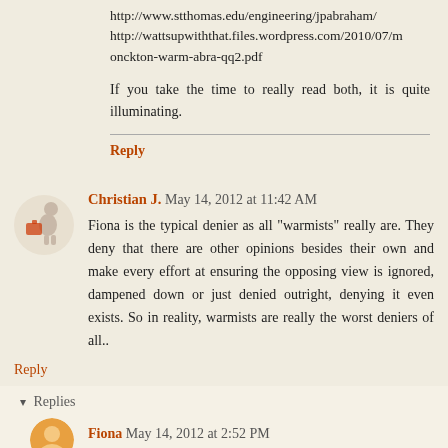http://www.stthomas.edu/engineering/jpabraham/
http://wattsupwiththat.files.wordpress.com/2010/07/monckton-warm-abra-qq2.pdf
If you take the time to really read both, it is quite illuminating.
Reply
Christian J. May 14, 2012 at 11:42 AM
Fiona is the typical denier as all "warmists" really are. They deny that there are other opinions besides their own and make every effort at ensuring the opposing view is ignored, dampened down or just denied outright, denying it even exists. So in reality, warmists are really the worst deniers of all..
Reply
▾ Replies
Fiona May 14, 2012 at 2:52 PM